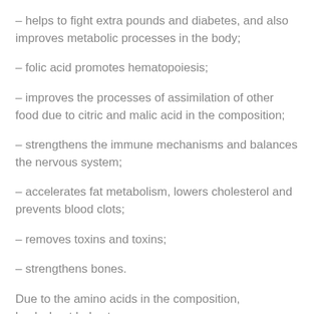– helps to fight extra pounds and diabetes, and also improves metabolic processes in the body;
– folic acid promotes hematopoiesis;
– improves the processes of assimilation of other food due to citric and malic acid in the composition;
– strengthens the immune mechanisms and balances the nervous system;
– accelerates fat metabolism, lowers cholesterol and prevents blood clots;
– removes toxins and toxins;
– strengthens bones.
Due to the amino acids in the composition, buckwheat helps to